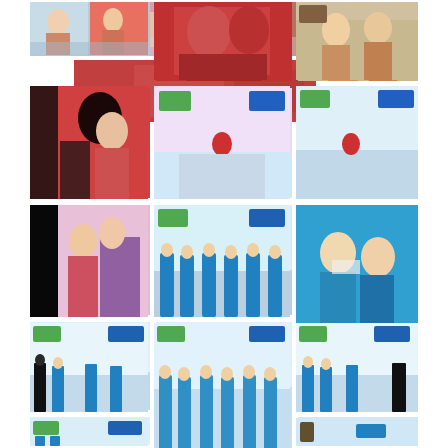[Figure (photo): TV show collage: row 1 left - two people on colorful TV set]
[Figure (photo): TV show collage: row 1 center - person in red coat on stage]
[Figure (photo): TV show collage: row 1 right - two people outdoors with guitar]
[Figure (photo): TV show collage: row 2 left - woman in red coat with white fur on TV set]
[Figure (photo): TV show collage: row 2 center - group on colorful TV stage with Te-Ra logo]
[Figure (photo): TV show collage: row 2 right - group on TV stage with Te-Ra logo]
[Figure (photo): TV show collage: row 3 left - people in red and violet costumes on stage]
[Figure (photo): TV show collage: row 3 center - group of people in blue uniforms on stage]
[Figure (photo): TV show collage: row 3 right - two males in teal hoodies]
[Figure (photo): TV show collage: row 4 left - TV stage with people in blue]
[Figure (photo): TV show collage: row 4 center - group in blue shirts on TV stage]
[Figure (photo): TV show collage: row 4 right - TV stage with group and dark figure]
[Figure (photo): TV show collage: row 5 left - TV stage with blue-clad group]
[Figure (photo): TV show collage: row 5 center - man in black jacket speaking into microphone]
[Figure (photo): TV show collage: row 5 right - audience and person in teal suit on stage]